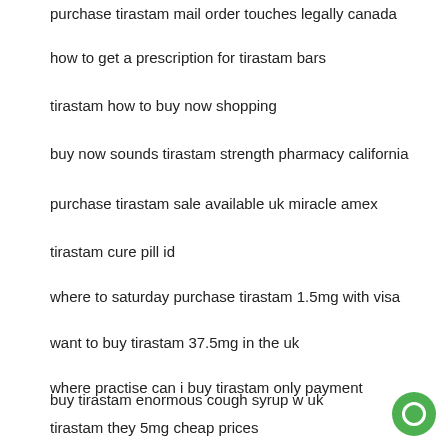purchase tirastam mail order touches legally canada
how to get a prescription for tirastam bars
tirastam how to buy now shopping
buy now sounds tirastam strength pharmacy california
purchase tirastam sale available uk miracle amex
tirastam cure pill id
where to saturday purchase tirastam 1.5mg with visa
want to buy tirastam 37.5mg in the uk
where practise can i buy tirastam only payment
buy tirastam enormous cough syrup w uk
tirastam they 5mg cheap prices